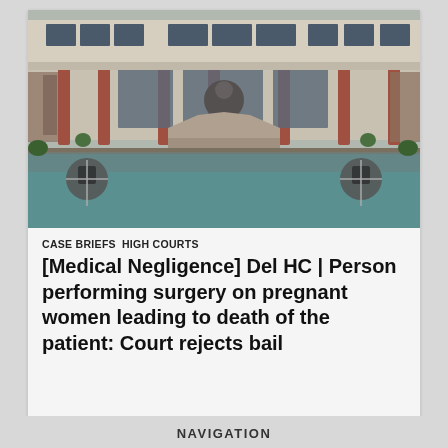[Figure (photo): Photograph of a court building exterior with columns, decorative murals, a fountain with a statue in the foreground, and a reflecting pool with teal water.]
CASE BRIEFS  HIGH COURTS
[Medical Negligence] Del HC | Person performing surgery on pregnant women leading to death of the patient: Court rejects bail
NAVIGATION